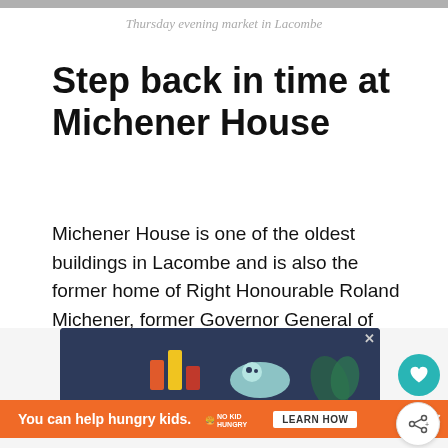Thursday evening market in Lacombe
Step back in time at Michener House
Michener House is one of the oldest buildings in Lacombe and is also the former home of Right Honourable Roland Michener, former Governor General of Canada from 1967 until 1974.
[Figure (illustration): Advertisement illustration showing a cartoon scene with colourful bar chart elements and a panda-like character, overlaid with 'You can help hungry kids.' No Kid Hungry ad banner.]